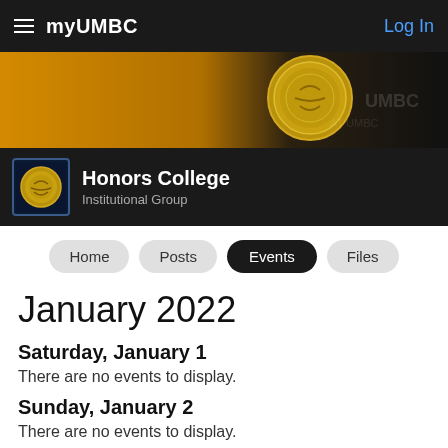myUMBC  Log In
[Figure (screenshot): myUMBC Honors College banner with gold coin seal on dark/orange background]
Honors College
Institutional Group
Home  Posts  Events  Files
January 2022
Saturday, January 1
There are no events to display.
Sunday, January 2
There are no events to display.
Monday, January 3